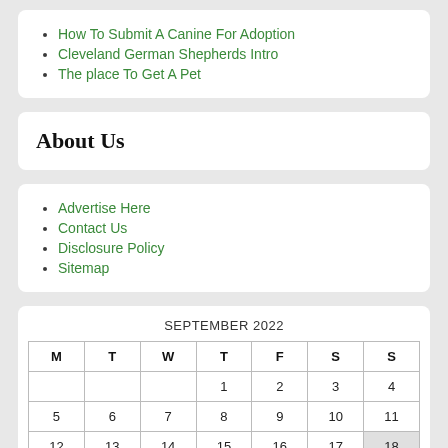How To Submit A Canine For Adoption
Cleveland German Shepherds Intro
The place To Get A Pet
About Us
Advertise Here
Contact Us
Disclosure Policy
Sitemap
SEPTEMBER 2022
| M | T | W | T | F | S | S |
| --- | --- | --- | --- | --- | --- | --- |
|  |  |  | 1 | 2 | 3 | 4 |
| 5 | 6 | 7 | 8 | 9 | 10 | 11 |
| 12 | 13 | 14 | 15 | 16 | 17 | 18 |